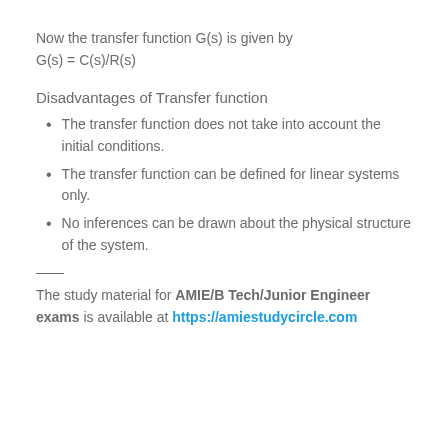Now the transfer function G(s) is given by
G(s) = C(s)/R(s)
Disadvantages of Transfer function
The transfer function does not take into account the initial conditions.
The transfer function can be defined for linear systems only.
No inferences can be drawn about the physical structure of the system.
—
The study material for AMIE/B Tech/Junior Engineer exams is available at https://amiestudycircle.com